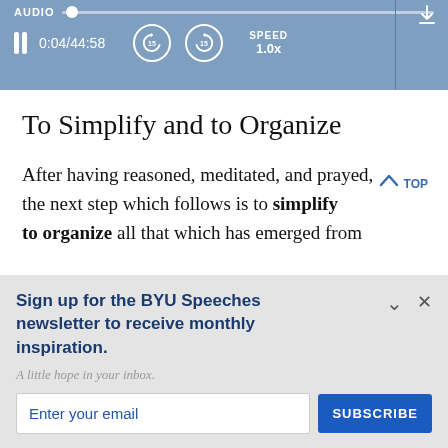[Figure (screenshot): Audio player bar showing AUDIO label, slider, pause button, time 0:04/44:58, rewind 15, forward 15, speed 1.0x, download icon]
To Simplify and to Organize
After having reasoned, meditated, and prayed, the next step which follows is to simplify to organize all that which has emerged from
Sign up for the BYU Speeches newsletter to receive monthly inspiration.
A little hope in your inbox.
Enter your email
SUBSCRIBE